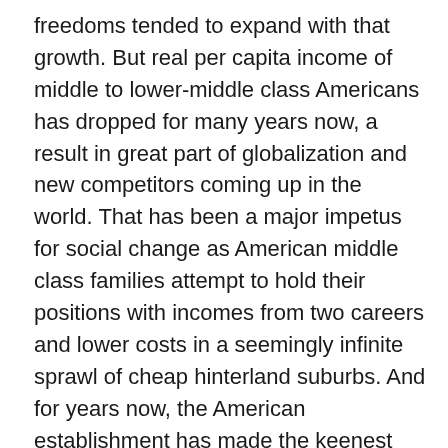freedoms tended to expand with that growth. But real per capita income of middle to lower-middle class Americans has dropped for many years now, a result in great part of globalization and new competitors coming up in the world. That has been a major impetus for social change as American middle class families attempt to hold their positions with incomes from two careers and lower costs in a seemingly infinite sprawl of cheap hinterland suburbs. And for years now, the American establishment has made the keenest political issue of taxes, but an issue only in the sense of by just how much to lower them, most particularly those affecting the wealthy.
To some extent a fortress-like mentality had taken hold of the middle class for years as they saw themselves on their way to work passing parts of rotting cities – doors always